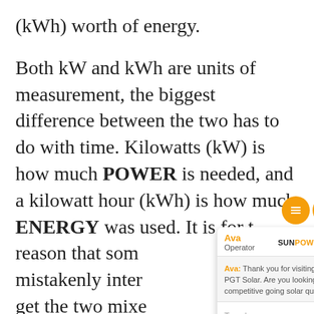(kWh) worth of energy.

Both kW and kWh are units of measurement, the biggest difference between the two has to do with time. Kilowatts (kW) is how much POWER is needed, and a kilowatt hour (kWh) is how much ENERGY was used. It is for this reason that some mistakenly interchange them. Unfortunately, if you get the two mixed up, you may have difficulty doing so, and difficulty saving money.

If you have any questions, give us a call. We always have a solar expert
[Figure (screenshot): Live chat widget overlay from SunPower by PGT Solar. Shows operator 'Ava' with message: 'Thank you for visiting SunPower by PGT Solar. Are you looking for competitive going solar quotes?' with a text input field and Powered By: LiveAdmins footer.]